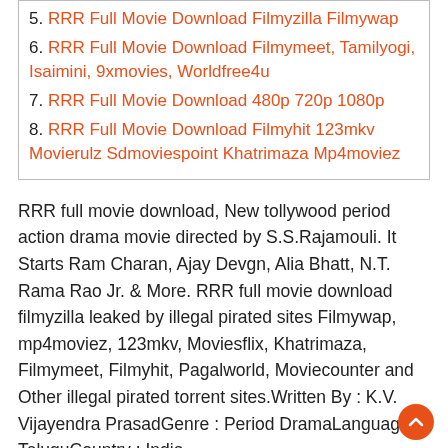5. RRR Full Movie Download Filmyzilla Filmywap
6. RRR Full Movie Download Filmymeet, Tamilyogi, Isaimini, 9xmovies, Worldfree4u
7. RRR Full Movie Download 480p 720p 1080p
8. RRR Full Movie Download Filmyhit 123mkv Movierulz Sdmoviespoint Khatrimaza Mp4moviez
RRR full movie download, New tollywood period action drama movie directed by S.S.Rajamouli. It Starts Ram Charan, Ajay Devgn, Alia Bhatt, N.T. Rama Rao Jr. & More. RRR full movie download filmyzilla leaked by illegal pirated sites Filmywap, mp4moviez, 123mkv, Moviesflix, Khatrimaza, Filmymeet, Filmyhit, Pagalworld, Moviecounter and Other illegal pirated torrent sites.Written By : K.V. Vijayendra PrasadGenre : Period DramaLanguage : TeluguCountry : India